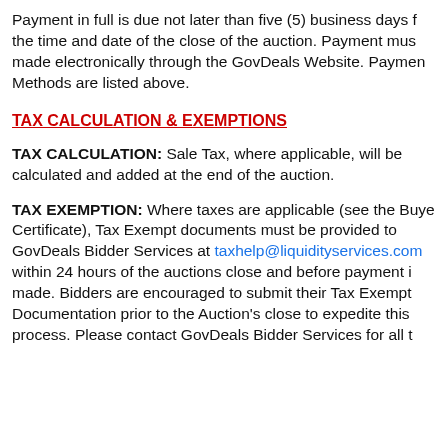Payment in full is due not later than five (5) business days f the time and date of the close of the auction. Payment mus made electronically through the GovDeals Website. Paymen Methods are listed above.
TAX CALCULATION & EXEMPTIONS
TAX CALCULATION: Sale Tax, where applicable, will be calculated and added at the end of the auction.
TAX EXEMPTION: Where taxes are applicable (see the Buye Certificate), Tax Exempt documents must be provided to GovDeals Bidder Services at taxhelp@liquidityservices.com within 24 hours of the auctions close and before payment i made. Bidders are encouraged to submit their Tax Exempt Documentation prior to the Auction's close to expedite this process. Please contact GovDeals Bidder Services for all t